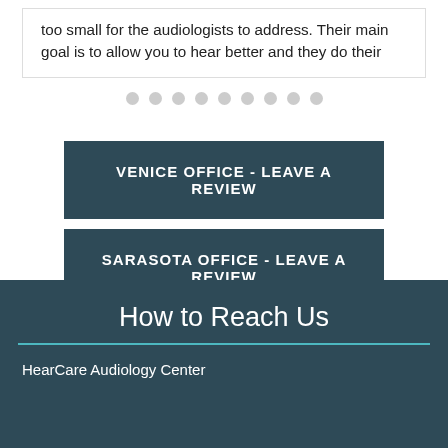too small for the audiologists to address. Their main goal is to allow you to hear better and they do their
• • • • • • • • •
VENICE OFFICE - LEAVE A REVIEW
SARASOTA OFFICE - LEAVE A REVIEW
How to Reach Us
HearCare Audiology Center